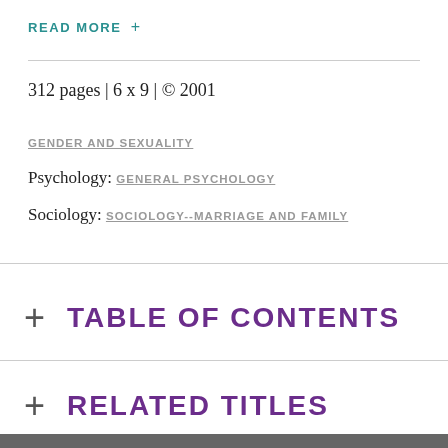READ MORE +
312 pages | 6 x 9 | © 2001
GENDER AND SEXUALITY
Psychology: GENERAL PSYCHOLOGY
Sociology: SOCIOLOGY--MARRIAGE AND FAMILY
+ TABLE OF CONTENTS
+ RELATED TITLES